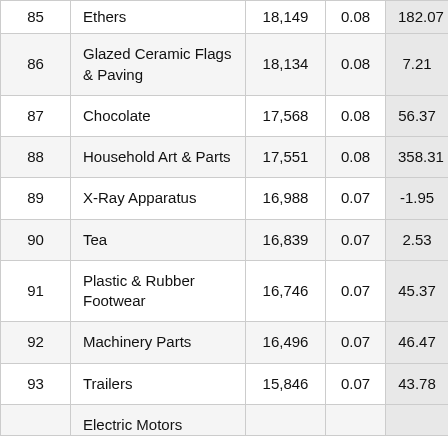| Rank | Product | Value | Share | Growth |
| --- | --- | --- | --- | --- |
| 85 | Ethers | 18,149 | 0.08 | 182.07 |
| 86 | Glazed Ceramic Flags & Paving | 18,134 | 0.08 | 7.21 |
| 87 | Chocolate | 17,568 | 0.08 | 56.37 |
| 88 | Household Art & Parts | 17,551 | 0.08 | 358.31 |
| 89 | X-Ray Apparatus | 16,988 | 0.07 | -1.95 |
| 90 | Tea | 16,839 | 0.07 | 2.53 |
| 91 | Plastic & Rubber Footwear | 16,746 | 0.07 | 45.37 |
| 92 | Machinery Parts | 16,496 | 0.07 | 46.47 |
| 93 | Trailers | 15,846 | 0.07 | 43.78 |
|  | Electric Motors |  |  |  |